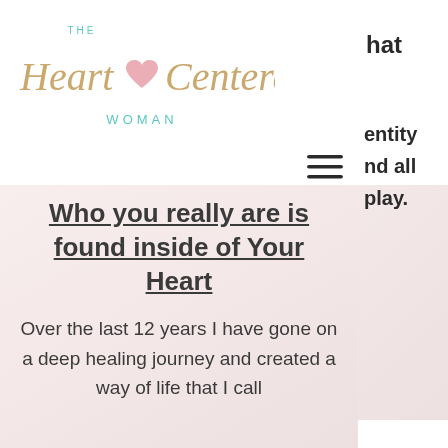[Figure (logo): The Heart Centered Woman logo with teal and gold script lettering and pink heart]
chat
entity
nd all
play.
Who you really are is found inside of Your Heart
Over the last 12 years I have gone on a deep healing journey and created a way of life that I call